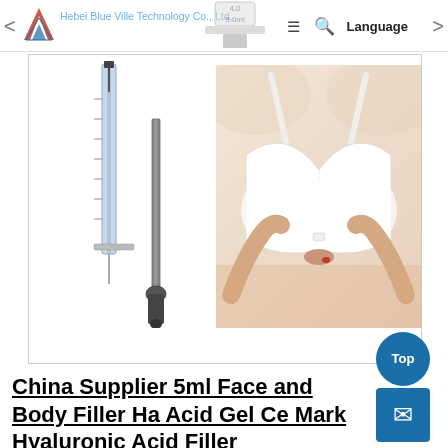Hebei Blue Ville Technology Co., Ltd. — Navigation bar with logo, menu, search, language
[Figure (photo): Product photo showing two medical syringes/cannulas on the left side and a woman in a white bra on the right side, representing body filler injection product]
China Supplier 5ml Face and Body Filler Ha Acid Gel Ce Mark Hyaluronic Acid Filler